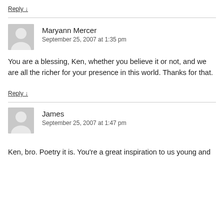Reply ↓
Maryann Mercer
September 25, 2007 at 1:35 pm
You are a blessing, Ken, whether you believe it or not, and we are all the richer for your presence in this world. Thanks for that.
Reply ↓
James
September 25, 2007 at 1:47 pm
Ken, bro. Poetry it is. You're a great inspiration to us young and